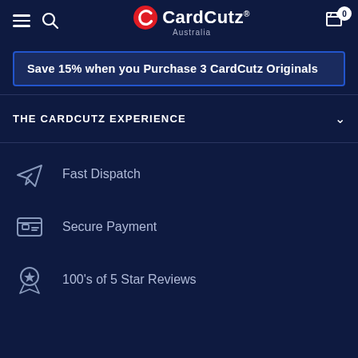CardCutz Australia — navigation bar with menu, search, logo, and cart (0 items)
Save 15% when you Purchase 3 CardCutz Originals
THE CARDCUTZ EXPERIENCE
Fast Dispatch
Secure Payment
100's of 5 Star Reviews